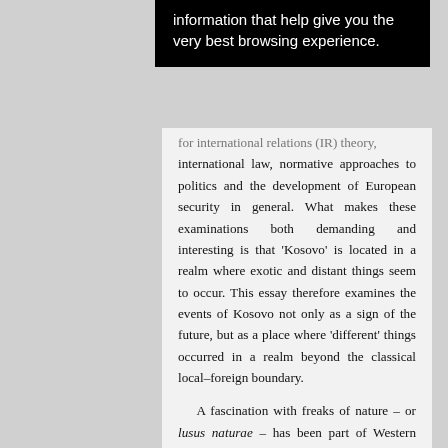[Figure (screenshot): Black popup/tooltip box with white text reading 'information that help give you the very best browsing experience.']
for international relations (IR) theory, international law, normative approaches to politics and the development of European security in general. What makes these examinations both demanding and interesting is that 'Kosovo' is located in a realm where exotic and distant things seem to occur. This essay therefore examines the events of Kosovo not only as a sign of the future, but as a place where 'different' things occurred in a realm beyond the classical local–foreign boundary.

A fascination with freaks of nature – or lusus naturae – has been part of Western culture since the ancient accounts of the marginally believable (paradoxography). Explorers like